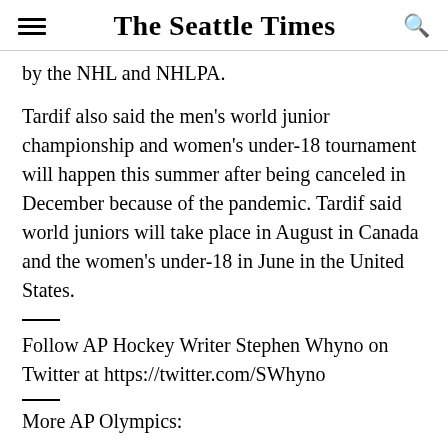The Seattle Times
by the NHL and NHLPA.
Tardif also said the men's world junior championship and women's under-18 tournament will happen this summer after being canceled in December because of the pandemic. Tardif said world juniors will take place in August in Canada and the women's under-18 in June in the United States.
Follow AP Hockey Writer Stephen Whyno on Twitter at https://twitter.com/SWhyno
More AP Olympics: